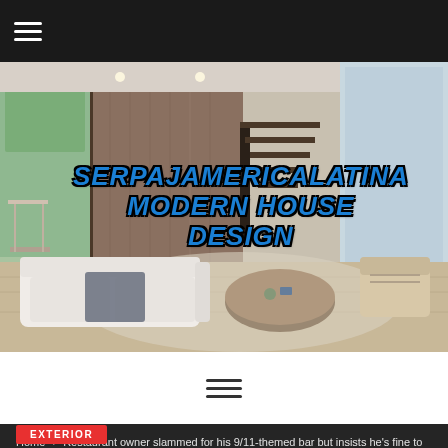[Figure (photo): Website header with hamburger menu icon on dark background]
[Figure (photo): Hero image of a modern luxury living room interior with white sofas, round wooden coffee table, and large windows. Overlaid text reads SERPAJAMERICALATINA MODERN HOUSE DESIGN in blue bold italic letters with black outline.]
[Figure (infographic): Three horizontal lines forming a hamburger/menu icon, centered on white background]
Home > Restaurant owner slammed for his 9/11-themed bar but insists he's fine to 'lose a few customers on this'
EXTERIOR